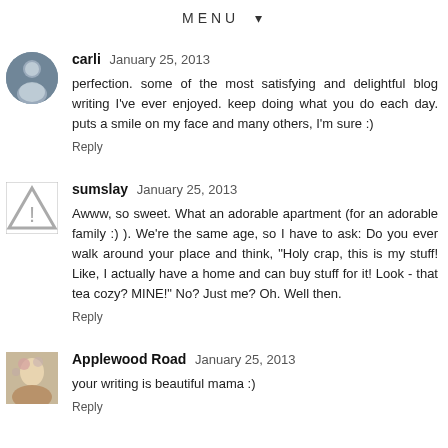MENU ▾
carli  January 25, 2013
perfection. some of the most satisfying and delightful blog writing I've ever enjoyed. keep doing what you do each day. puts a smile on my face and many others, I'm sure :)
Reply
sumslay  January 25, 2013
Awww, so sweet. What an adorable apartment (for an adorable family :) ). We're the same age, so I have to ask: Do you ever walk around your place and think, "Holy crap, this is my stuff! Like, I actually have a home and can buy stuff for it! Look - that tea cozy? MINE!" No? Just me? Oh. Well then.
Reply
Applewood Road  January 25, 2013
your writing is beautiful mama :)
Reply